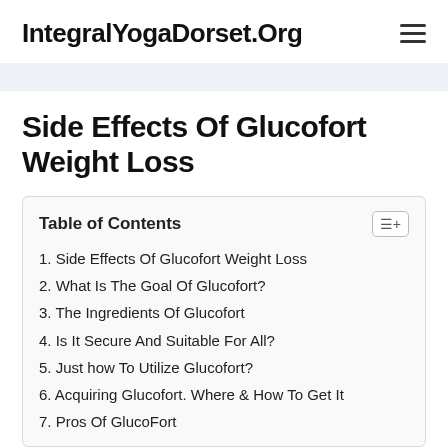IntegralYogaDorset.Org
Side Effects Of Glucofort Weight Loss
| Table of Contents |
| --- |
| 1. Side Effects Of Glucofort Weight Loss |
| 2. What Is The Goal Of Glucofort? |
| 3. The Ingredients Of Glucofort |
| 4. Is It Secure And Suitable For All? |
| 5. Just how To Utilize Glucofort? |
| 6. Acquiring Glucofort. Where & How To Get It |
| 7. Pros Of GlucoFort |